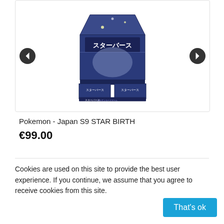[Figure (photo): Pokemon Japan S9 STAR BIRTH booster box product image with navigation arrows on left and right]
Pokemon - Japan S9 STAR BIRTH
€99.00
Cookies are used on this site to provide the best user experience. If you continue, we assume that you agree to receive cookies from this site.
That's ok